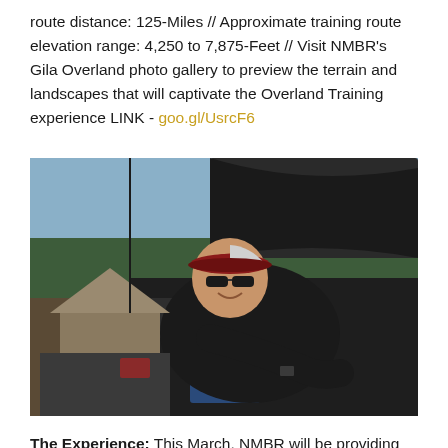route distance: 125-Miles // Approximate training route elevation range: 4,250 to 7,875-Feet // Visit NMBR's Gila Overland photo gallery to preview the terrain and landscapes that will captivate the Overland Training experience LINK - goo.gl/UsrcF6
[Figure (photo): A man wearing a red baseball cap and sunglasses leaning over an open vehicle hood, working on the engine. In the background there is a rooftop tent on a vehicle and pine trees under a blue sky.]
The Experience: This March, NMBR will be providing an intensive four-wheel drive and overland skills overview and